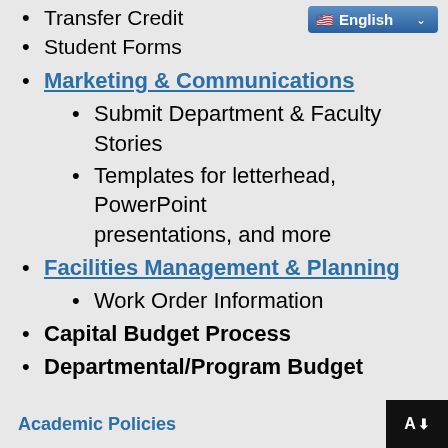Transfer Credit
Student Forms
Marketing & Communications
Submit Department & Faculty Stories
Templates for letterhead, PowerPoint presentations, and more
Facilities Management & Planning
Work Order Information
Capital Budget Process
Departmental/Program Budget
Academic Policies